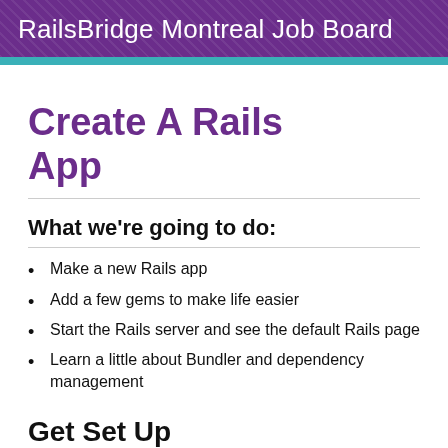RailsBridge Montreal Job Board
Create A Rails App
What we're going to do:
Make a new Rails app
Add a few gems to make life easier
Start the Rails server and see the default Rails page
Learn a little about Bundler and dependency management
Get Set Up